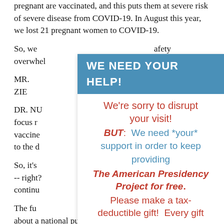pregnant are vaccinated, and this puts them at severe risk of severe disease from COVID-19. In August this year, we lost 21 pregnant women to COVID-19.
So, we overwhel safety concern
MR. ZIE
DR. NU ary focus r ed with vaccine get us to the d
So, it's eciding -- right? ve continu
The fu s is about a national public education campaign that is implemented through and with local partners. And so continuing to get that message out to people.
[Figure (infographic): Overlay popup with blue header 'WE NEED YOUR HELP!' and body text in red and blue asking for support for The American Presidency Project.]